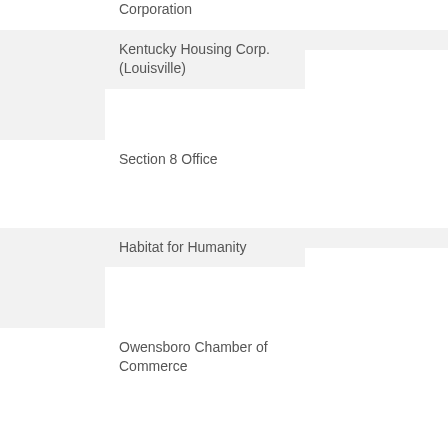| Category | Organization | Address |
| --- | --- | --- |
|  | Corporation |  |
|  | Kentucky Housing Corp. (Louisville) |  |
|  | Section 8 Office |  |
|  | Habitat for Humanity |  |
|  | Owensboro Chamber of Commerce |  |
| Rent Assistance | Audubon Area Community Services | 1800 W. 4th St. |
*Some